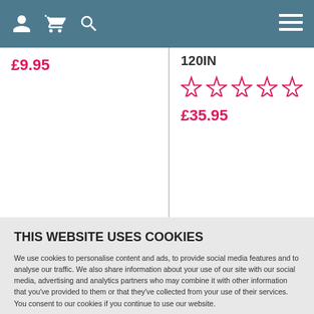Navigation header with user, basket, search icons and menu
£9.95
120IN
★★★★★ (empty stars)
£35.95
THIS WEBSITE USES COOKIES
We use cookies to personalise content and ads, to provide social media features and to analyse our traffic. We also share information about your use of our site with our social media, advertising and analytics partners who may combine it with other information that you've provided to them or that they've collected from your use of their services. You consent to our cookies if you continue to use our website.
Privacy Policy | Cookie Policy
MANAGE COOKIES
ALLOW ALL
Read More +